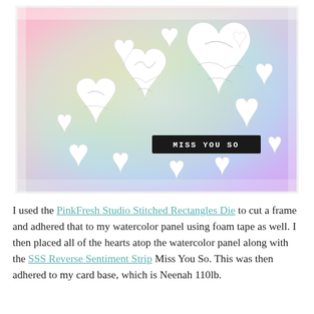[Figure (photo): Close-up photo of a handmade greeting card featuring crinkled white marble-textured heart shapes of various sizes arranged on a rainbow-colored watercolor background panel framed in white. A black sentiment strip in the center reads 'MISS YOU SO' in white letters.]
I used the PinkFresh Studio Stitched Rectangles Die to cut a frame and adhered that to my watercolor panel using foam tape as well. I then placed all of the hearts atop the watercolor panel along with the SSS Reverse Sentiment Strip Miss You So. This was then adhered to my card base, which is Neenah 110lb.